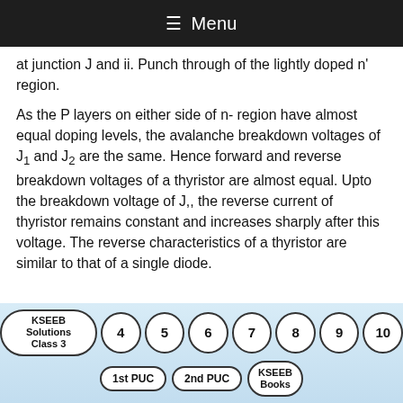≡ Menu
at junction J and ii. Punch through of the lightly doped n' region.
As the P layers on either side of n- region have almost equal doping levels, the avalanche breakdown voltages of J₁ and J₂ are the same. Hence forward and reverse breakdown voltages of a thyristor are almost equal. Upto the breakdown voltage of J,, the reverse current of thyristor remains constant and increases sharply after this voltage. The reverse characteristics of a thyristor are similar to that of a single diode.
KSEEB Solutions Class 3  4  5  6  7  8  9  10  1st PUC  2nd PUC  KSEEB Books